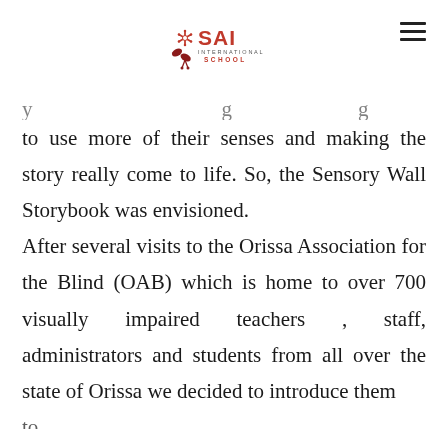SAI International School logo
to use more of their senses and making the story really come to life. So, the Sensory Wall Storybook was envisioned. After several visits to the Orissa Association for the Blind (OAB) which is home to over 700 visually impaired teachers , staff, administrators and students from all over the state of Orissa we decided to introduce them to…